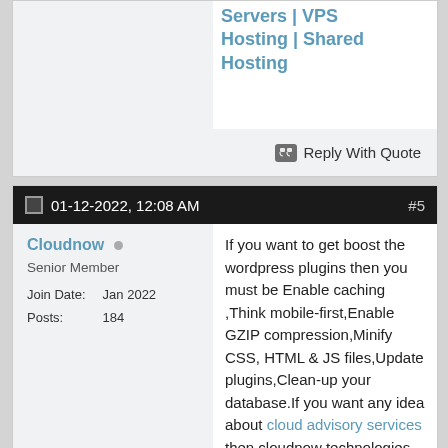Servers | VPS Hosting | Shared Hosting
Reply With Quote
01-12-2022, 12:08 AM  #5
Cloudnow
Senior Member
Join Date: Jan 2022
Posts: 184
If you want to get boost the wordpress plugins then you must be Enable caching ,Think mobile-first,Enable GZIP compression,Minify CSS, HTML & JS files,Update plugins,Clean-up your database.If you want any idea about cloud advisory services then cloudnow technologies will guide with best solutions for cloud.
Reply With Quote